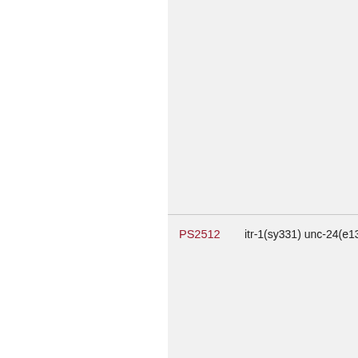| Strain | Genotype |
| --- | --- |
| PS2512 | itr-1(sy331) unc-24(e138)… |
| PS2516 | itr-1(sy291) unc-24(e138)… |